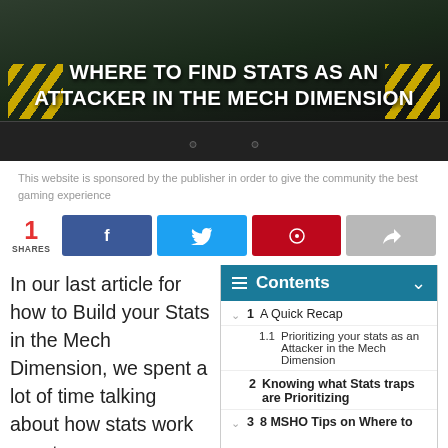[Figure (illustration): Hero banner image with dark military/mech themed background with yellow diagonal stripes on sides, featuring bold white uppercase text 'WHERE TO FIND STATS AS AN ATTACKER IN THE MECH DIMENSION']
This website is sponsored by the publisher in order to give the community the best gaming experience
1 SHARES
1   A Quick Recap
1.1   Prioritizing your stats as an Attacker in the Mech Dimension
2   Knowing what Stats traps are Prioritizing
3   8 MSHO Tips on Where to
In our last article for how to Build your Stats in the Mech Dimension, we spent a lot of time talking about how stats work as a trap